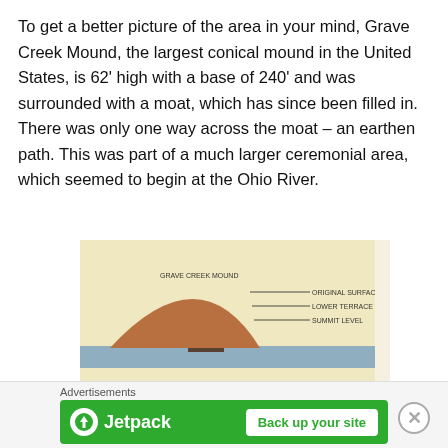To get a better picture of the area in your mind, Grave Creek Mound, the largest conical mound in the United States, is 62' high with a base of 240' and was surrounded with a moat, which has since been filled in. There was only one way across the moat – an earthen path. This was part of a much larger ceremonial area, which seemed to begin at the Ohio River.
[Figure (photo): A diagram/exhibit photo showing a cross-sectional illustration of Grave Creek Mound with labels pointing to features of the mound including earthen path and moat, with a brownish conical mound shape against a light background. The lower portion shows another reddish mound shape partially visible.]
Advertisements
[Figure (other): Jetpack advertisement banner with green background, Jetpack logo on the left, and 'Back up your site' button on the right.]